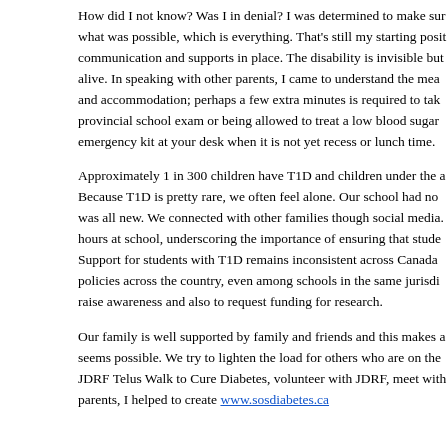How did I not know? Was I in denial? I was determined to make sure what was possible, which is everything. That's still my starting position communication and supports in place. The disability is invisible but alive. In speaking with other parents, I came to understand the meaning and accommodation; perhaps a few extra minutes is required to take a provincial school exam or being allowed to treat a low blood sugar with an emergency kit at your desk when it is not yet recess or lunch time.
Approximately 1 in 300 children have T1D and children under the age. Because T1D is pretty rare, we often feel alone. Our school had no experience, it was all new. We connected with other families though social media. hours at school, underscoring the importance of ensuring that students Support for students with T1D remains inconsistent across Canada policies across the country, even among schools in the same jurisdiction. raise awareness and also to request funding for research.
Our family is well supported by family and friends and this makes all seem possible. We try to lighten the load for others who are on the same path. JDRF Telus Walk to Cure Diabetes, volunteer with JDRF, meet with other parents, I helped to create www.sosdiabetes.ca